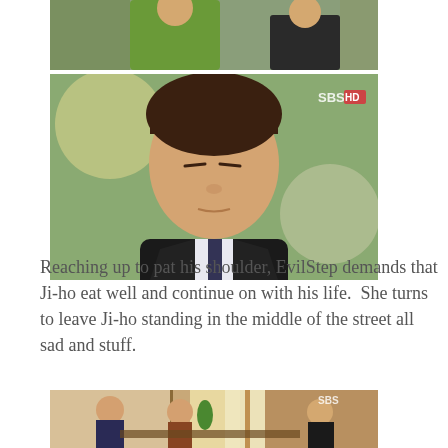[Figure (photo): Top photo: partial view of two people standing outdoors, one in green jacket and one in dark suit]
[Figure (photo): Middle photo: close-up of a young Asian man in a dark suit with tie, eyes downcast, SBS HD watermark visible in upper right]
Reaching up to pat his shoulder, EvilStep demands that Ji-ho eat well and continue on with his life.  She turns to leave Ji-ho standing in the middle of the street all sad and stuff.
[Figure (photo): Bottom photo: indoor scene with several people sitting at a table in what appears to be a traditional Korean interior, SBS watermark visible]